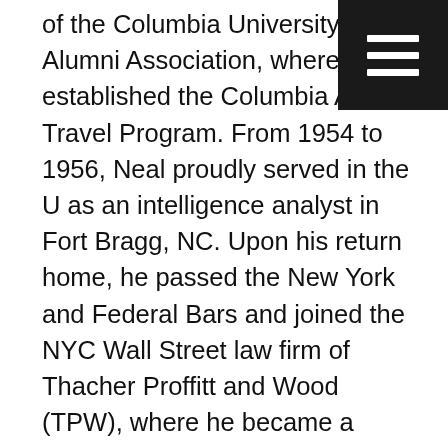of the Columbia University Alumni Association, where he established the Columbia Alumni Travel Program. From 1954 to 1956, Neal proudly served in the US as an intelligence analyst in Fort Bragg, NC. Upon his return home, he passed the New York and Federal Bars and joined the NYC Wall Street law firm of Thacher Proffitt and Wood (TPW), where he became a Senior Partner and worked very hard for 38 years. After a distinguished legal career in maritime shipping and corporate law, Neal retired from the law in 1994. He continued serving as a board member at Graham Manufacturing Corp., owned by a dear friend from Williston Academy, until 2012. Neal and his beloved wife of 36 years, Alix, moved from NYC to live full time in Stonington, CT in 1994 after Neal retired from TPW. There he took up sailing as a new favorite pastime. He bought his first sailboat, the Nealix, a 25' Pierson in 1987, and learned to sail at the Stevens-Colgate Sailing School on City Island. Neal's interests included skiing